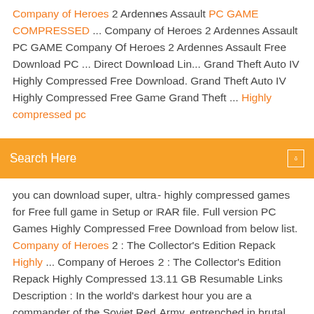Company of Heroes 2 Ardennes Assault PC GAME COMPRESSED ... Company of Heroes 2 Ardennes Assault PC GAME Company Of Heroes 2 Ardennes Assault Free Download PC ... Direct Download Lin... Grand Theft Auto IV Highly Compressed Free Download. Grand Theft Auto IV Highly Compressed Free Game Grand Theft ... Highly compressed pc
Search Here
you can download super, ultra- highly compressed games for Free full game in Setup or RAR file. Full version PC Games Highly Compressed Free Download from below list. Company of Heroes 2 : The Collector's Edition Repack Highly ... Company of Heroes 2 : The Collector's Edition Repack Highly Compressed 13.11 GB Resumable Links Description : In the world's darkest hour you are a commander of the Soviet Red Army, entrenched in brutal frontline warfare to free Mother Russia from the Enemy invaders. Marvel heroes 2015 | Highly Compressed Full Version Games